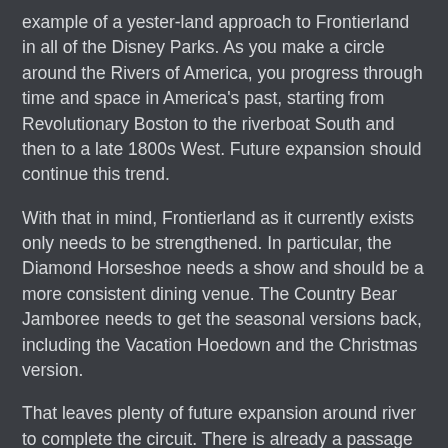example of a yester-land approach to Frontierland in all of the Disney Parks.  As you make a circle around the Rivers of America, you progress through time and space in America's past, starting from Revolutionary Boston to the riverboat South and then to a late 1800s West.  Future expansion should continue this trend.
With that in mind, Frontierland as it currently exists only needs to be strengthened.  In particular, the Diamond Horseshoe needs a show and should be a more consistent dining venue.  The Country Bear Jamboree needs to get the seasonal versions back, including the Vacation Hoedown and the Christmas version.
That leaves plenty of future expansion around river to complete the circuit.  There is already a passage under the railroad tracks to get to the Splash Mountain queue.  I would extend from there to a bridge across the river to the first expansion pad.  In this location, continuing in time and space around from 1800s old west, I would add a turn-of-the century San Francisco, via Discovery Bay.